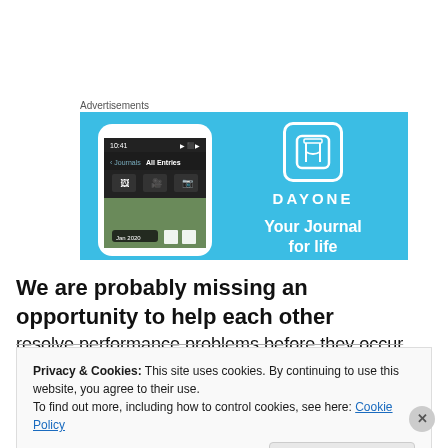Advertisements
[Figure (screenshot): DayOne app advertisement on light blue background showing a smartphone with the DayOne journaling app interface, DayOne logo icon, DAYONE text logo, and tagline 'Your Journal for life']
We are probably missing an opportunity to help each other
resolve performance problems before they occur
Privacy & Cookies: This site uses cookies. By continuing to use this website, you agree to their use.
To find out more, including how to control cookies, see here: Cookie Policy
Close and accept